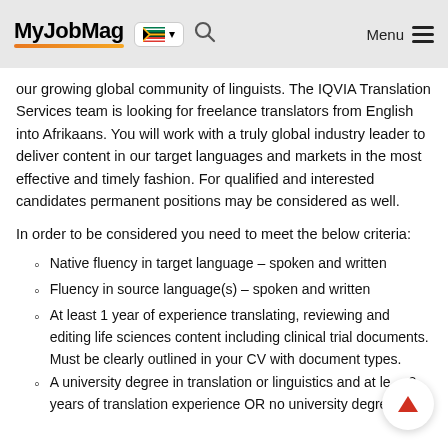MyJobMag [South Africa flag] [Search] Menu
our growing global community of linguists. The IQVIA Translation Services team is looking for freelance translators from English into Afrikaans. You will work with a truly global industry leader to deliver content in our target languages and markets in the most effective and timely fashion. For qualified and interested candidates permanent positions may be considered as well.
In order to be considered you need to meet the below criteria:
Native fluency in target language – spoken and written
Fluency in source language(s) – spoken and written
At least 1 year of experience translating, reviewing and editing life sciences content including clinical trial documents. Must be clearly outlined in your CV with document types.
A university degree in translation or linguistics and at least 2 years of translation experience OR no university degree